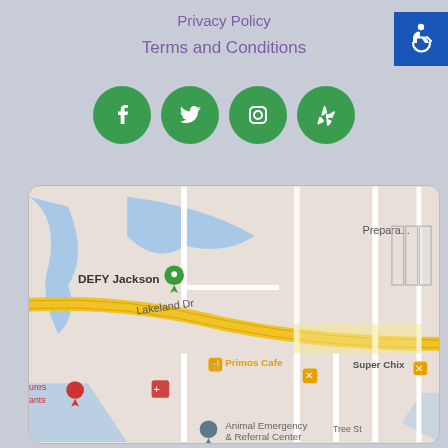Privacy Policy
Terms and Conditions
[Figure (infographic): Social media icons: Facebook, Twitter, Instagram, Yelp — green circular buttons]
[Figure (map): Google Maps embed showing DEFY Jackson area with Lakeland Dr, Primos Cafe, Golden Corral Buffet & Grill, Super Chix, Animal Emergency & Referral Center, N Layfair Dr, Strickland Dr, Tree St]